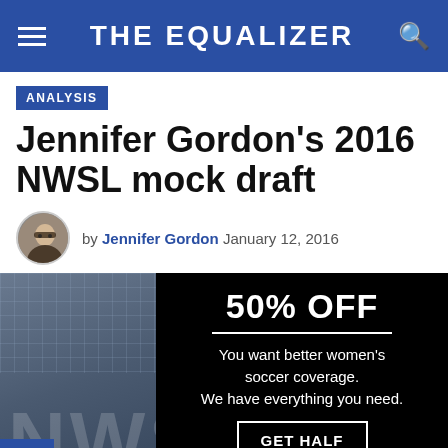THE EQUALIZER
ANALYSIS
Jennifer Gordon's 2016 NWSL mock draft
by Jennifer Gordon  January 12, 2016
[Figure (photo): Blurred photo of NWSL stadium/signage in blue tones, with a share button overlay in the bottom left corner]
[Figure (infographic): Black promotional overlay with '50% OFF' heading, divider line, text 'You want better women's soccer coverage. We have everything you need.' and a 'GET HALF OFF' button]